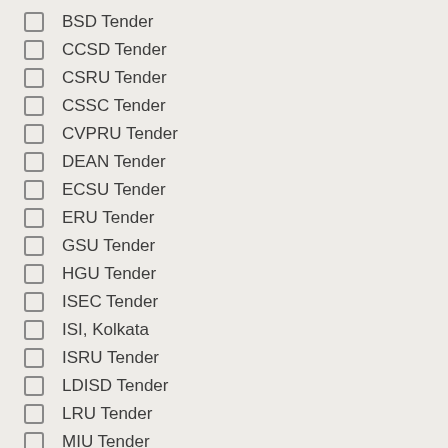BSD Tender
CCSD Tender
CSRU Tender
CSSC Tender
CVPRU Tender
DEAN Tender
ECSU Tender
ERU Tender
GSU Tender
HGU Tender
ISEC Tender
ISI, Kolkata
ISRU Tender
LDISD Tender
LRU Tender
MIU Tender
PAMU Tender